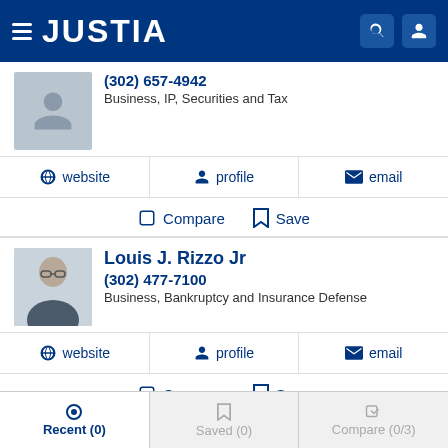JUSTIA
(302) 657-4942
Business, IP, Securities and Tax
website  profile  email
Compare  Save
Louis J. Rizzo Jr
(302) 477-7100
Business, Bankruptcy and Insurance Defense
website  profile  email
Compare  Save
Recent (0)  Saved (0)  Compare (0/3)